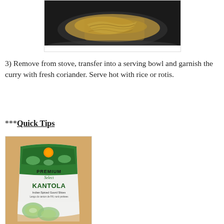[Figure (photo): Food cooking in a dark pan/wok showing curry dish from above]
3) Remove from stove, transfer into a serving bowl and garnish the curry with fresh coriander. Serve hot with rice or rotis.
***Quick Tips
[Figure (photo): Bag of Premium Select Kantola (Indian Spiced Gourd Slices) frozen vegetable product]